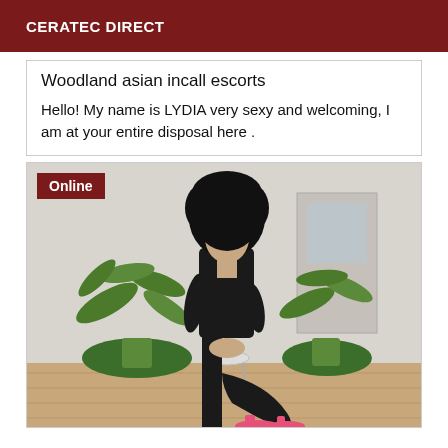CERATEC DIRECT
Woodland asian incall escorts
Hello! My name is LYDIA very sexy and welcoming, I am at your entire disposal here .
[Figure (photo): Woman in black dress and pink heels sitting on a stool with a plant in background, face obscured. Online badge in red top-left corner.]